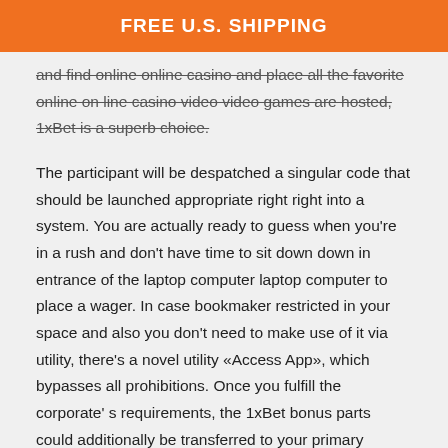FREE U.S. SHIPPING
and find online online casino and place all the favorite online on line casino video video games are hosted, 1xBet is a superb choice.
The participant will be despatched a singular code that should be launched appropriate right right into a system. You are actually ready to guess when you’re in a rush and don’t have time to sit down down in entrance of the laptop computer laptop computer to place a wager. In case bookmaker restricted in your space and also you don’t need to make use of it via utility, there’s a novel utility «Access App», which bypasses all prohibitions. Once you fulfill the corporate’ s requirements, the 1xBet bonus parts could additionally be transferred to your primary checking account. However , you’ re additionally certain to win these pending bets to amass your earnings out of this current. For starters, the location is basically an easy task to navigate and every thing you want is only a click away.